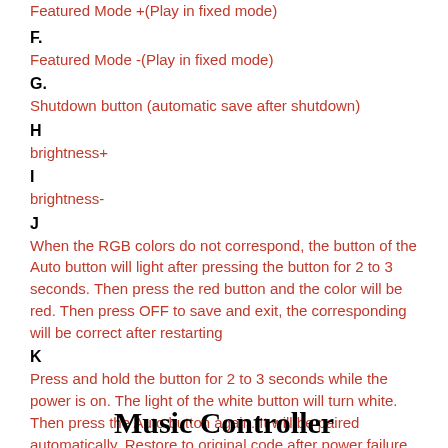Featured Mode +(Play in fixed mode)
F.
Featured Mode -(Play in fixed mode)
G.
Shutdown button (automatic save after shutdown)
H
brightness+
I
brightness-
J
When the RGB colors do not correspond, the button of the Auto button will light after pressing the button for 2 to 3 seconds. Then press the red button and the color will be red. Then press OFF to save and exit, the corresponding will be correct after restarting
K
Press and hold the button for 2 to 3 seconds while the power is on. The light of the white button will turn white. Then press the Auto button again. It will be paired automatically. Restore to original code after power failure
Music Controller